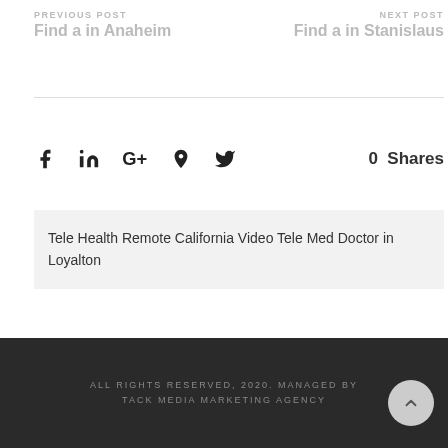PREVIOUS POST
Find a in Anaheim
NEXT POST
Find a in Stanislaus
[Figure (other): Social sharing icons: Facebook, LinkedIn, Google+, Pinterest, Twitter with 0 Shares count]
Tele Health Remote California Video Tele Med Doctor in Loyalton
ALL RIGHTS RESERVED, 2020. MANAGED BY TACK MEDIA MARKETING AGENCY